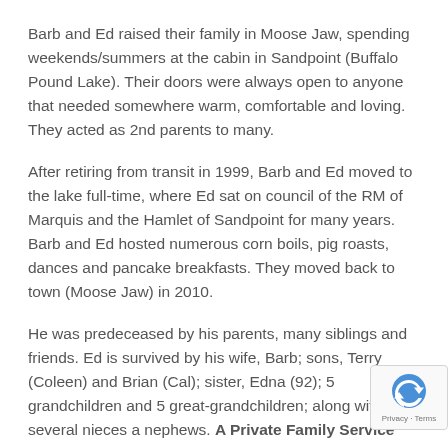Barb and Ed raised their family in Moose Jaw, spending weekends/summers at the cabin in Sandpoint (Buffalo Pound Lake).  Their doors were always open to anyone that needed somewhere warm, comfortable and loving.  They acted as 2nd parents to many.
After retiring from transit in 1999, Barb and Ed moved to the lake full-time, where Ed sat on council of the RM of Marquis and the Hamlet of Sandpoint for many years.  Barb and Ed hosted numerous corn boils, pig roasts, dances and pancake breakfasts.  They moved back to town (Moose Jaw) in 2010.
He was predeceased by his parents, many siblings and friends.  Ed is survived by his wife, Barb; sons, Terry (Coleen) and Brian (Cal); sister, Edna (92); 5 grandchildren and 5 great-grandchildren; along with several nieces and nephews.  A Private Family Service will be held to honour Ed.  As an expression of sympathy, donations in